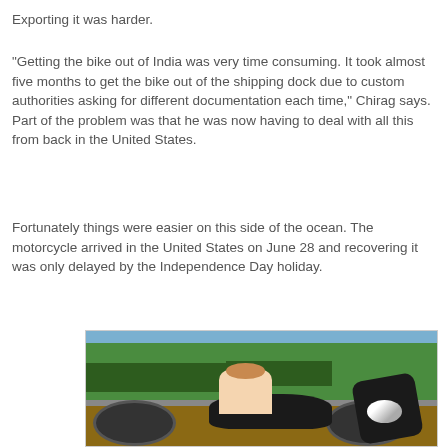Exporting it was harder.
"Getting the bike out of India was very time consuming. It took almost five months to get the bike out of the shipping dock due to custom authorities asking for different documentation each time," Chirag says. Part of the problem was that he was now having to deal with all this from back in the United States.
Fortunately things were easier on this side of the ocean. The motorcycle arrived in the United States on June 28 and recovering it was only delayed by the Independence Day holiday.
[Figure (photo): A young child sitting on a black vintage motorcycle (Royal Enfield style), with green grass and bushes in the background, outdoors.]